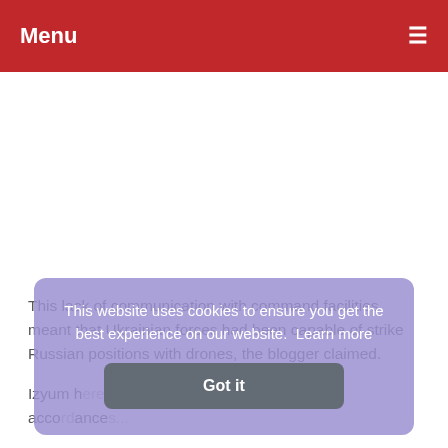Menu
[Figure (other): White advertisement/image placeholder area below header]
This lack of communication with command facilities meant that Ukrainian forces had been capable of strike Russian positions with drones, the blogger claimed.
Izyum h... in accord...
This website uses cookies to ensure you get the best experience on our website.  Learn more
Got it